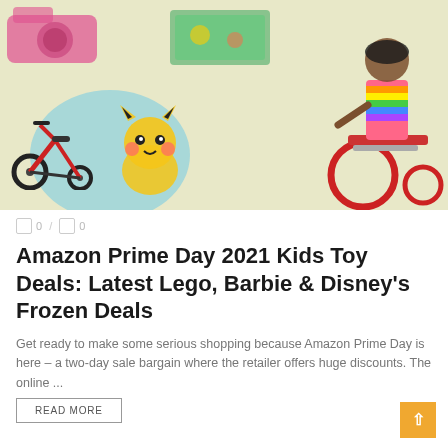[Figure (photo): Amazon Prime Day toys collage: pink camera top-left, colorful play mat top-center, Barbie doll in wheelchair on right, red tricycle bottom-left, Pikachu plush center, on yellow-green background with teal circle]
0 / 0
Amazon Prime Day 2021 Kids Toy Deals: Latest Lego, Barbie & Disney's Frozen Deals
Get ready to make some serious shopping because Amazon Prime Day is here – a two-day sale bargain where the retailer offers huge discounts. The online ...
READ MORE